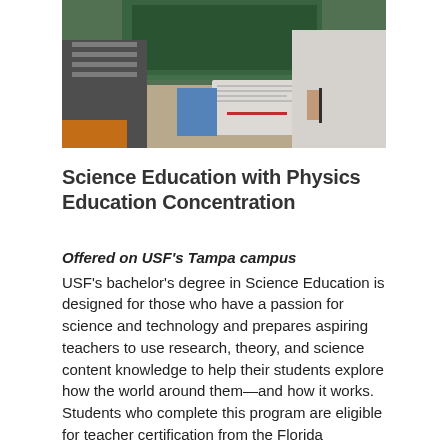[Figure (photo): A classroom photo showing students at desks with a teacher, green chalkboard visible in background, taken from an angle above.]
Science Education with Physics Education Concentration
Offered on USF's Tampa campus
USF's bachelor's degree in Science Education is designed for those who have a passion for science and technology and prepares aspiring teachers to use research, theory, and science content knowledge to help their students explore how the world around them—and how it works. Students who complete this program are eligible for teacher certification from the Florida Department of Education in Biology (grades 6-12).